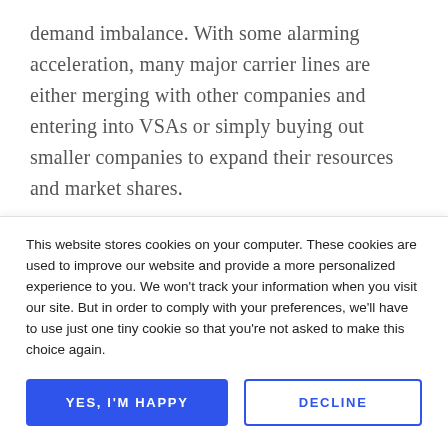demand imbalance. With some alarming acceleration, many major carrier lines are either merging with other companies and entering into VSAs or simply buying out smaller companies to expand their resources and market shares.
What does Freight Market...
This website stores cookies on your computer. These cookies are used to improve our website and provide a more personalized experience to you. We won't track your information when you visit our site. But in order to comply with your preferences, we'll have to use just one tiny cookie so that you're not asked to make this choice again.